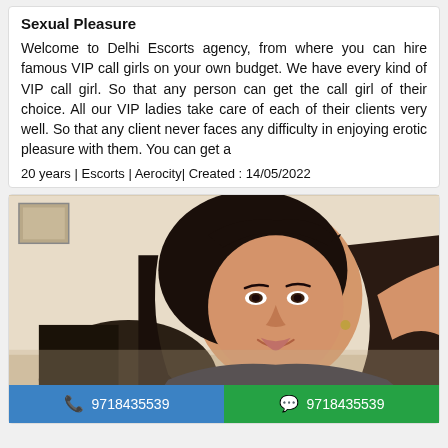Sexual Pleasure
Welcome to Delhi Escorts agency, from where you can hire famous VIP call girls on your own budget. We have every kind of VIP call girl. So that any person can get the call girl of their choice. All our VIP ladies take care of each of their clients very well. So that any client never faces any difficulty in enjoying erotic pleasure with them. You can get a
20 years | Escorts | Aerocity| Created : 14/05/2022
[Figure (photo): Portrait photo of a young woman with long dark hair, smiling, seated indoors]
9718435539  9718435539